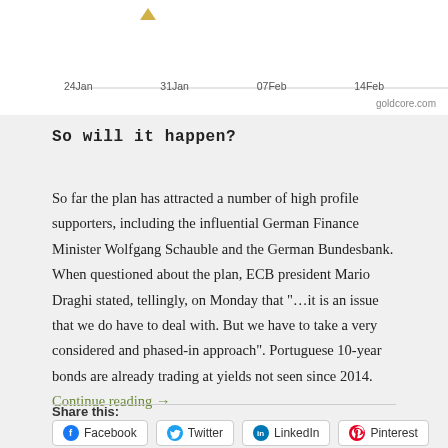[Figure (continuous-plot): Bottom portion of a financial chart showing x-axis date labels: 24Jan, 31Jan, 07Feb, 14Feb. Source label: goldcore.com]
So will it happen?
So far the plan has attracted a number of high profile supporters, including the influential German Finance Minister Wolfgang Schauble and the German Bundesbank. When questioned about the plan, ECB president Mario Draghi stated, tellingly, on Monday that "…it is an issue that we do have to deal with. But we have to take a very considered and phased-in approach". Portuguese 10-year bonds are already trading at yields not seen since 2014. Continue reading →
Share this:
Facebook
Twitter
LinkedIn
Pinterest